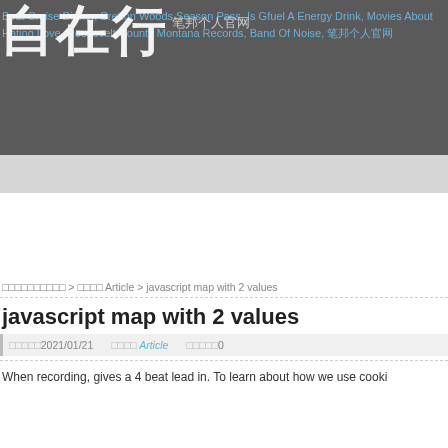Boat Cruise Dinner, Bretton Woods Season Pass, Is Gfuel A Energy Drink, Movies About Hating Love, Roosevelt County Montana Records, Band Of Noise, 笔邦个人官网
[Figure (logo): Chinese logo with characters 自在行 and subtitle text 笔邦个人官网]
□□□□□□□□□□ > □□□□ Article > javascript map with 2 values
javascript map with 2 values
□□□□□2021/01/21   □□□□ Article   □□□□□0
When recording, gives a 4 beat lead in. To learn about how we use cooki